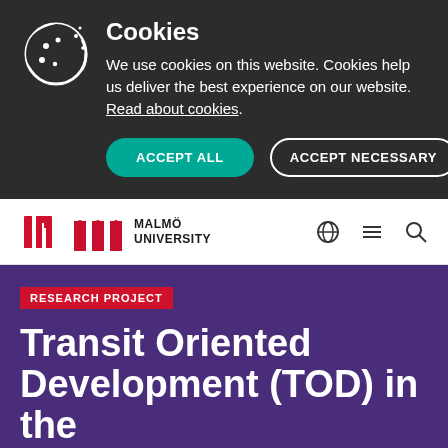Cookies
We use cookies on this website. Cookies help us deliver the best experience on our website. Read about cookies.
ACCEPT ALL
ACCEPT NECESSARY
[Figure (logo): Malmö University logo with red M-shaped building icon and text MALMÖ UNIVERSITY]
RESEARCH PROJECT
Transit Oriented Development (TOD) in the